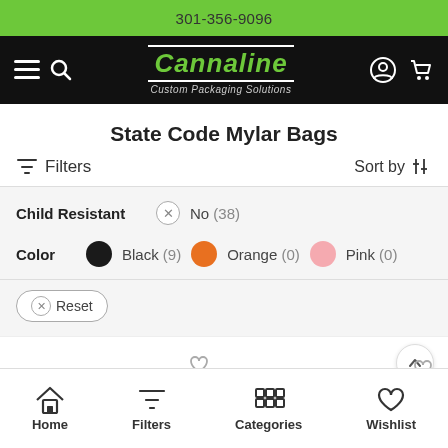301-356-9096
[Figure (logo): Cannaline Custom Packaging Solutions logo on black navigation bar with hamburger menu, search icon, user icon, and cart icon]
State Code Mylar Bags
Filters | Sort by
| Filter | Value |
| --- | --- |
| Child Resistant | No (38) |
| Color | Black (9) | Orange (0) | Pink (0) |
Reset
Home | Filters | Categories | Wishlist